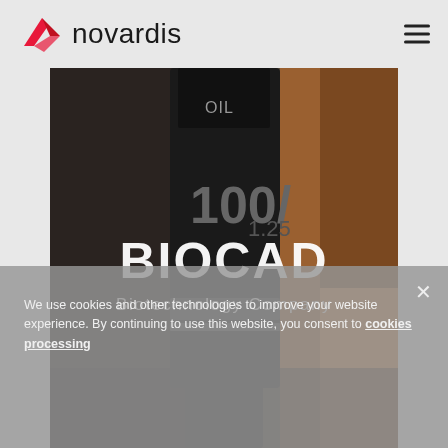[Figure (logo): Novardis logo: red arrow/bird shape and text 'novardis' in dark sans-serif, with hamburger menu icon on right]
[Figure (photo): Close-up photograph of a microscope objective lens labeled '100/1.25', with BIOCAD Biotechnology Company logo overlaid in white text on center]
We use cookies and other technologies to improve your website experience. By continuing to use this website, you consent to cookies processing